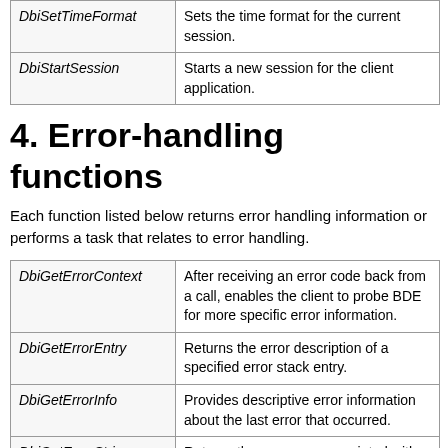| Function | Description |
| --- | --- |
| DbiSetTimeFormat | Sets the time format for the current session. |
| DbiStartSession | Starts a new session for the client application. |
4. Error-handling functions
Each function listed below returns error handling information or performs a task that relates to error handling.
| Function | Description |
| --- | --- |
| DbiGetErrorContext | After receiving an error code back from a call, enables the client to probe BDE for more specific error information. |
| DbiGetErrorEntry | Returns the error description of a specified error stack entry. |
| DbiGetErrorInfo | Provides descriptive error information about the last error that occurred. |
| DbiGetErrorString | Returns the message associated with a given error code. |